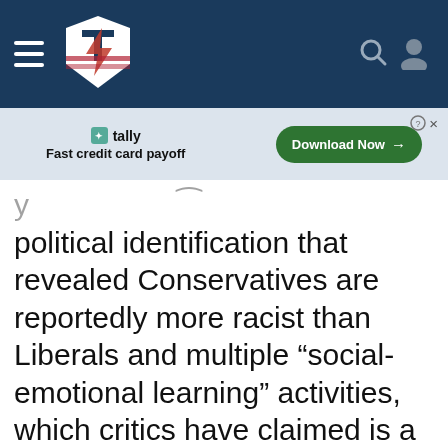[Figure (screenshot): Navigation bar with hamburger menu, Trending Politics logo (lightning bolt with American flag colors), search icon, and user profile icon on dark blue background]
[Figure (screenshot): Advertisement banner for Tally app - Fast credit card payoff - with green Download Now button]
political identification that revealed Conservatives are reportedly more racist than Liberals and multiple “social-emotional learning” activities, which critics have claimed is a loophole to repackage CRT and disseminate the material throughout public schools.